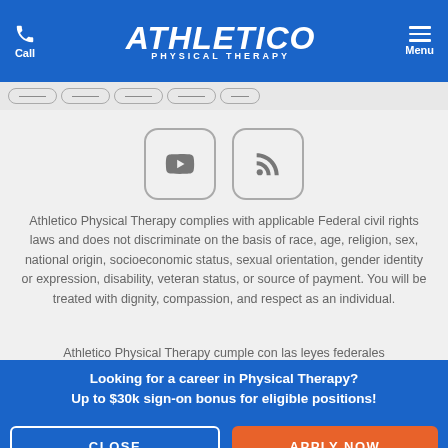Athletico Physical Therapy — Call | Menu
[Figure (screenshot): YouTube and RSS feed icon buttons in rounded square boxes]
Athletico Physical Therapy complies with applicable Federal civil rights laws and does not discriminate on the basis of race, age, religion, sex, national origin, socioeconomic status, sexual orientation, gender identity or expression, disability, veteran status, or source of payment. You will be treated with dignity, compassion, and respect as an individual.
Athletico Physical Therapy cumple con las leyes federales
Looking for a career in Physical Therapy?
Up to $30k sign-on bonus for eligible positions!
CLOSE
APPLY NOW